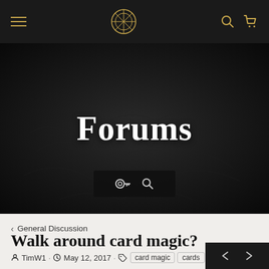Navigation bar with hamburger menu, logo, search and cart icons
[Figure (screenshot): Dark hero banner with 'Forums' title in white bold serif text, and a search/key icon bar at the bottom center over a dark textured background]
< General Discussion
Walk around card magic?
TimW1 · May 12, 2017 · card magic  cards